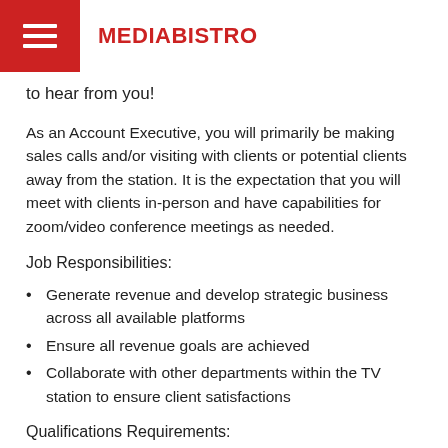MEDIABISTRO
to hear from you!
As an Account Executive, you will primarily be making sales calls and/or visiting with clients or potential clients away from the station. It is the expectation that you will meet with clients in-person and have capabilities for zoom/video conference meetings as needed.
Job Responsibilities:
Generate revenue and develop strategic business across all available platforms
Ensure all revenue goals are achieved
Collaborate with other departments within the TV station to ensure client satisfactions
Qualifications Requirements:
Needs to be a team player, adaptable, results-oriented, and have the desire to